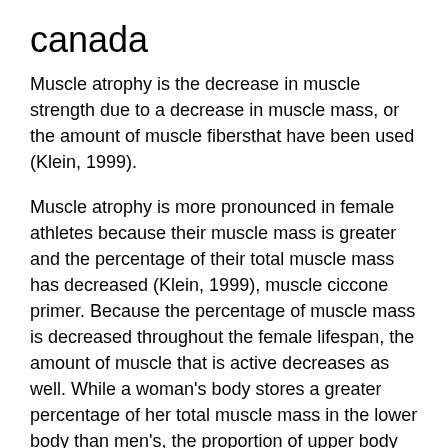canada
Muscle atrophy is the decrease in muscle strength due to a decrease in muscle mass, or the amount of muscle fibersthat have been used (Klein, 1999).
Muscle atrophy is more pronounced in female athletes because their muscle mass is greater and the percentage of their total muscle mass has decreased (Klein, 1999), muscle ciccone primer. Because the percentage of muscle mass is decreased throughout the female lifespan, the amount of muscle that is active decreases as well. While a woman's body stores a greater percentage of her total muscle mass in the lower body than men's, the proportion of upper body muscular work that is done in the female musculature varies as well (McDonald et al, buying steroids in turkey., 2011), buying steroids in turkey. As this